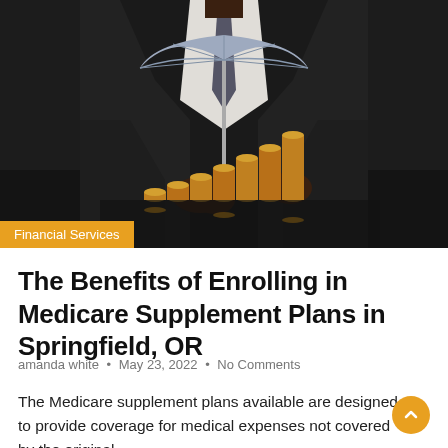[Figure (photo): Person in dark suit holding a small umbrella over stacked gold coins on a reflective table surface, representing financial protection or insurance concept]
Financial Services
The Benefits of Enrolling in Medicare Supplement Plans in Springfield, OR
amanda white • May 23, 2022 • No Comments
The Medicare supplement plans available are designed to provide coverage for medical expenses not covered by the original